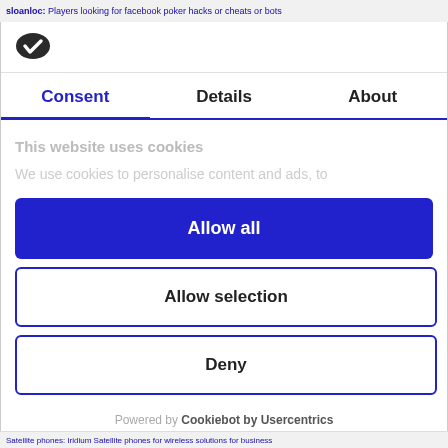sloanloc: Players looking for facebook poker hacks or cheats or bots
[Figure (logo): Cookiebot logo - dark oval shape with white checkmark]
Consent | Details | About
This website uses cookies
We use cookies to personalise content and ads, to
Allow all
Allow selection
Deny
Powered by Cookiebot by Usercentrics
Satellite phones: Iridium Satellite phones for wireless solutions for business